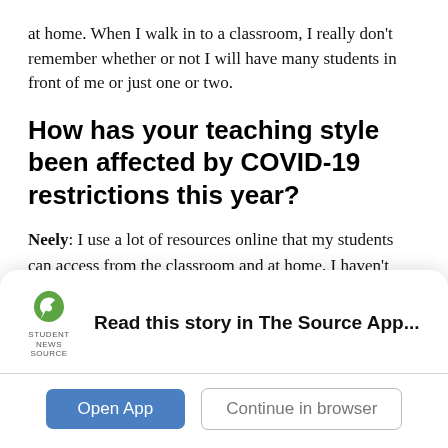at home. When I walk in to a classroom, I really don't remember whether or not I will have many students in front of me or just one or two.
How has your teaching style been affected by COVID-19 restrictions this year?
Neely: I use a lot of resources online that my students can access from the classroom and at home. I haven't changed too much about my classes, but I am always mindful of making sure students can see or hear something, and I try to give them options to access
[Figure (other): App banner with Student News Source logo, text 'Read this story in The Source App...', an 'Open App' button (blue), and a 'Continue in browser' button (outlined).]